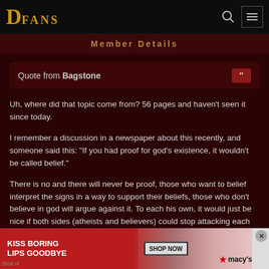[Figure (screenshot): DFans website logo in top navigation bar with dark background]
Member Details
Quote from Bagstone
Uh, where did that topic come from? 56 pages and haven't seen it since today.
I remember a discussion in a newspaper about this recently, and someone said this: "If you had proof for god's existence, it wouldn't be called belief."
There is no and there will never be proof, those who want to belief interpret the signs in a way to support their beliefs, those who don't believe in god will argue against it. To each his own, it would just be nice if both sides (atheists and believers) could stop attacking each other.
[Figure (photo): Advertisement banner: Kiss Boring Lips Goodbye - Macy's Shop Now ad with woman's face]